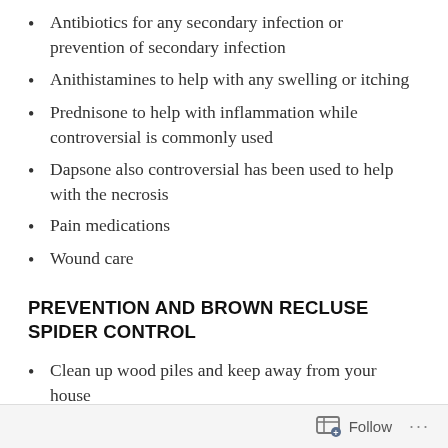Antibiotics for any secondary infection or prevention of secondary infection
Anithistamines to help with any swelling or itching
Prednisone to help with inflammation while controversial is commonly used
Dapsone also controversial has been used to help with the necrosis
Pain medications
Wound care
PREVENTION AND BROWN RECLUSE SPIDER CONTROL
Clean up wood piles and keep away from your house
Keep your bed away from walls and declutter
Follow ...